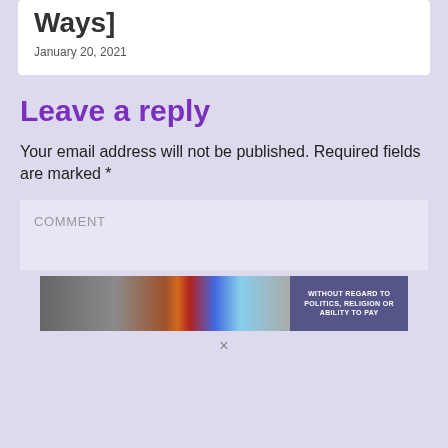Ways]
January 20, 2021
Leave a reply
Your email address will not be published. Required fields are marked *
COMMENT
[Figure (photo): Advertisement banner showing an airplane being loaded with cargo, with text 'WITHOUT REGARD TO POLITICS, RELIGION OR ABILITY TO PAY']
×